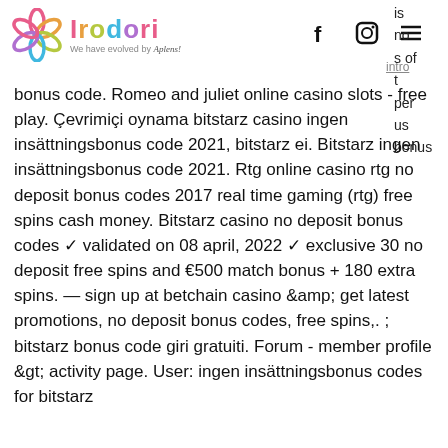Irodori - We have evolved by Aplens!
is no s of t per us bonus code. Romeo and juliet online casino slots - free play. Çevrimiçi oynama bitstarz casino ingen insättningsbonus code 2021, bitstarz ei. Bitstarz ingen insättningsbonus code 2021. Rtg online casino rtg no deposit bonus codes 2017 real time gaming (rtg) free spins cash money. Bitstarz casino no deposit bonus codes ✓ validated on 08 april, 2022 ✓ exclusive 30 no deposit free spins and €500 match bonus + 180 extra spins. — sign up at betchain casino &amp; get latest promotions, no deposit bonus codes, free spins,. ; bitstarz bonus code giri gratuiti. Forum - member profile &gt; activity page. User: ingen insättningsbonus codes for bitstarz